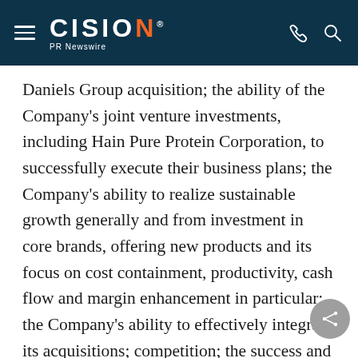CISION PR Newswire
Daniels Group acquisition; the ability of the Company's joint venture investments, including Hain Pure Protein Corporation, to successfully execute their business plans; the Company's ability to realize sustainable growth generally and from investment in core brands, offering new products and its focus on cost containment, productivity, cash flow and margin enhancement in particular; the Company's ability to effectively integrate its acquisitions; competition; the success and cost of introducing new products as well as the Company's ability to increase prices on existing products; the availability and retention of key personnel; the Company's reliance on third party distributors, manufacturers and suppliers; the